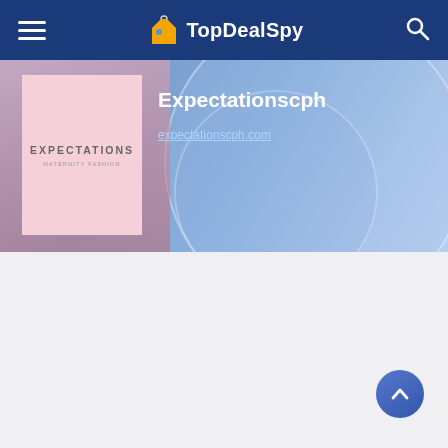TopDealSpy
[Figure (screenshot): Expectationscph store page on TopDealSpy showing store logo, store name 'Expectationscph', and website URL 'expectationscph.com' on a blue gradient banner background]
expectationscph.com